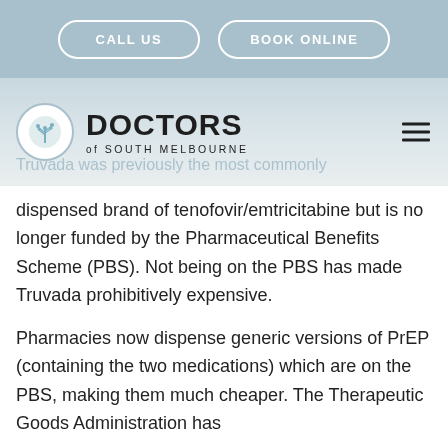CALL US   BOOK ONLINE
[Figure (logo): Doctors of South Melbourne logo with circular tree emblem and hamburger menu icon]
Truvada was previously the most commonly dispensed brand of tenofovir/emtricitabine but is no longer funded by the Pharmaceutical Benefits Scheme (PBS). Not being on the PBS has made Truvada prohibitively expensive.
Pharmacies now dispense generic versions of PrEP (containing the two medications) which are on the PBS, making them much cheaper. The Therapeutic Goods Administration has